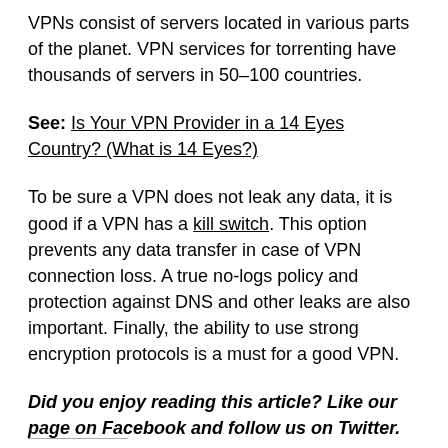VPNs consist of servers located in various parts of the planet. VPN services for torrenting have thousands of servers in 50–100 countries.
See: Is Your VPN Provider in a 14 Eyes Country? (What is 14 Eyes?)
To be sure a VPN does not leak any data, it is good if a VPN has a kill switch. This option prevents any data transfer in case of VPN connection loss. A true no-logs policy and protection against DNS and other leaks are also important. Finally, the ability to use strong encryption protocols is a must for a good VPN.
Did you enjoy reading this article? Like our page on Facebook and follow us on Twitter.